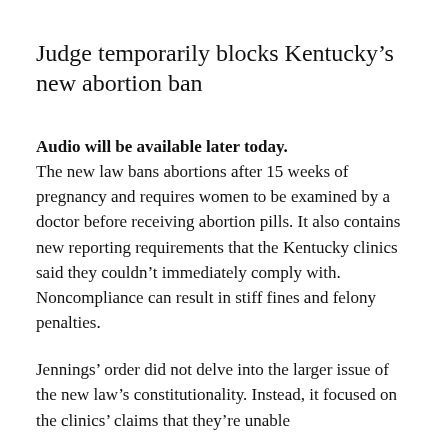Judge temporarily blocks Kentucky’s new abortion ban
Audio will be available later today. The new law bans abortions after 15 weeks of pregnancy and requires women to be examined by a doctor before receiving abortion pills. It also contains new reporting requirements that the Kentucky clinics said they couldn’t immediately comply with. Noncompliance can result in stiff fines and felony penalties.
Jennings’ order did not delve into the larger issue of the new law’s constitutionality. Instead, it focused on the clinics’ claims that they’re unable